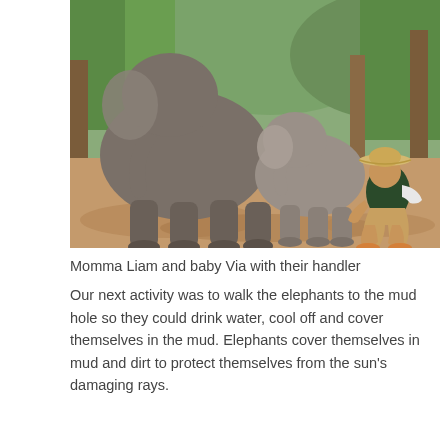[Figure (photo): Outdoor photograph of two elephants (a large adult and a smaller baby) with a person wearing a straw hat sitting on the ground beside them. The setting appears to be a dirt enclosure with wooden posts, green foliage and hills in the background.]
Momma Liam and baby Via with their handler
Our next activity was to walk the elephants to the mud hole so they could drink water, cool off and cover themselves in the mud. Elephants cover themselves in mud and dirt to protect themselves from the sun's damaging rays.